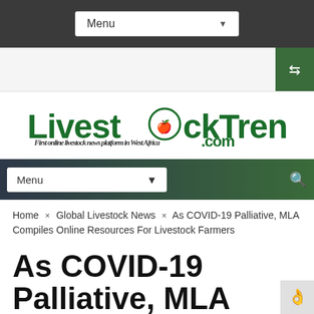Menu
[Figure (logo): LivestockTrend.com logo with tagline 'First online livestock news platform in West Africa']
Menu
Home × Global Livestock News × As COVID-19 Palliative, MLA Compiles Online Resources For Livestock Farmers
As COVID-19 Palliative, MLA Compiles Online Resources For Livestock